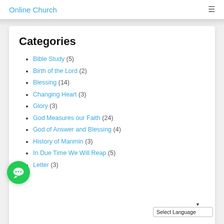Online Church
Categories
Bible Study (5)
Birth of the Lord (2)
Blessing (14)
Changing Heart (3)
Glory (3)
God Measures our Faith (24)
God of Answer and Blessing (4)
History of Manmin (3)
In Due Time We Will Reap (5)
Letter (3)